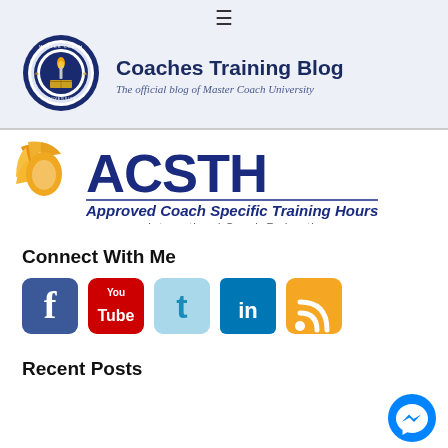≡
[Figure (logo): Master Coach University circular seal logo with torch]
Coaches Training Blog
The official blog of Master Coach University
[Figure (logo): ACSTH - Approved Coach Specific Training Hours - International Coach Federation logo]
Connect With Me
[Figure (infographic): Social media icons: Facebook, YouTube, Twitter, LinkedIn, RSS feed]
Recent Posts